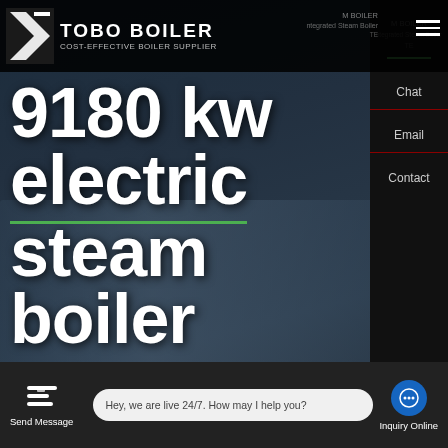TOBO BOILER - COST-EFFECTIVE BOILER SUPPLIER
[Figure (screenshot): Hero banner showing TOBO BOILER website with large white text '9180 kw electric steam boiler' overlaid on a dark background with industrial boiler equipment visible]
9180 kw electric steam boiler
HOT NEWS
Contact us now!
Hey, we are live 24/7. How may I help you?
Send Message | Inquiry Online